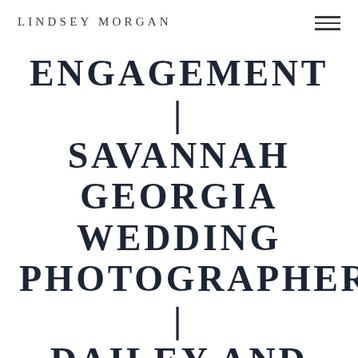LINDSEY MORGAN
ENGAGEMENT | SAVANNAH GEORGIA WEDDING PHOTOGRAPHER | DAILEY AND DAVIS
Engagements
[Figure (photo): Outdoor nature photo showing a large tree with Spanish moss and twisted branches, taken in Savannah Georgia style setting]